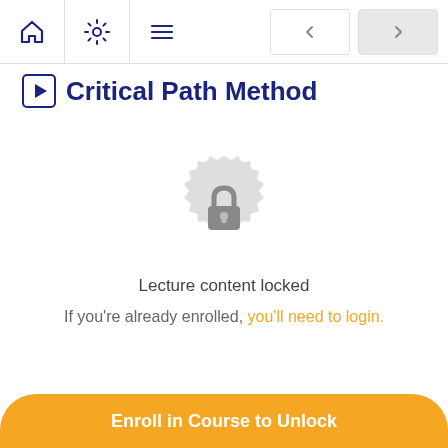Critical Path Method — course navigation header
Critical Path Method
[Figure (illustration): A circular gear/badge shaped icon in light gray with a padlock icon in the center, indicating locked content.]
Lecture content locked
If you're already enrolled, you'll need to login.
Enroll in Course to Unlock